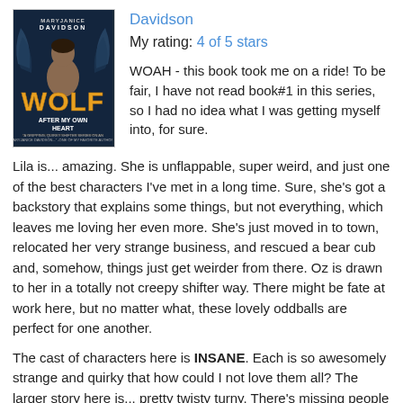[Figure (illustration): Book cover for 'Wolf After My Own Heart' by MaryJanice Davidson. Dark fantasy romance cover showing a shirtless man with wings against a dark background. Yellow/orange title text 'WOLF' with 'AFTER MY OWN HEART' below. Author name 'MARYJANICE DAVIDSON' at top.]
Davidson
My rating: 4 of 5 stars
WOAH - this book took me on a ride! To be fair, I have not read book#1 in this series, so I had no idea what I was getting myself into, for sure.
Lila is... amazing. She is unflappable, super weird, and just one of the best characters I've met in a long time. Sure, she's got a backstory that explains some things, but not everything, which leaves me loving her even more. She's just moved in to town, relocated her very strange business, and rescued a bear cub and, somehow, things just get weirder from there. Oz is drawn to her in a totally not creepy shifter way. There might be fate at work here, but no matter what, these lovely oddballs are perfect for one another.
The cast of characters here is INSANE. Each is so awesomely strange and quirky that how could I not love them all? The larger story here is... pretty twisty turny. There's missing people who are presumed dead but might